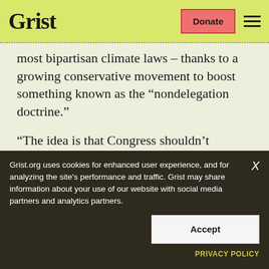Grist | Donate
most bipartisan climate laws – thanks to a growing conservative movement to boost something known as the “nondelegation doctrine.”
“The idea is that Congress shouldn’t delegate too much power to the executive branch,” said Michael Gerrard, a professor of climate
Grist.org uses cookies for enhanced user experience, and for analyzing the site’s performance and traffic. Grist may share information about your use of our website with social media partners and analytics partners.
Accept
PRIVACY POLICY